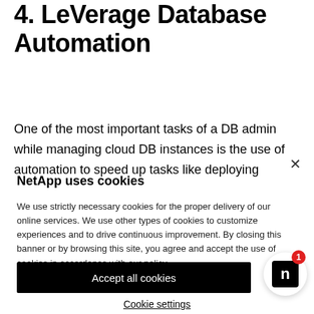4. LeVerage Database Automation
One of the most important tasks of a DB admin while managing cloud DB instances is the use of automation to speed up tasks like deploying
NetApp uses cookies
We use strictly necessary cookies for the proper delivery of our online services. We use other types of cookies to customize experiences and to drive continuous improvement. By closing this banner or by browsing this site, you agree and accept the use of cookies in accordance with our policy.
Accept all cookies
Cookie settings